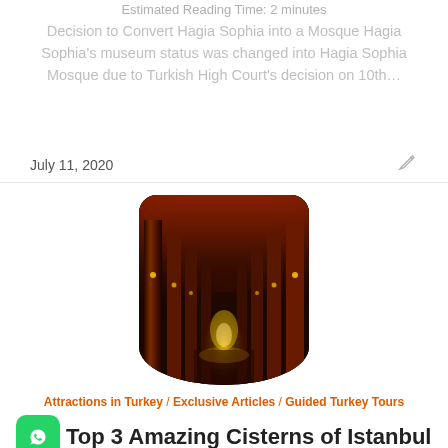Estimated Reading Time: 2 minutes
Decision to Convert Hagia Sophia into a Mosque Hagia Sophia's museum status was changed into Hagia Sophia Mosque due to Turkish High Court's decision on 10th...
July 11, 2020
[Figure (photo): Interior of the Basilica Cistern in Istanbul, showing illuminated columns and arched ceiling with reddish-brown tones and a long corridor perspective]
Attractions in Turkey / Exclusive Articles / Guided Turkey Tours
Top 3 Amazing Cisterns of Istanbul
Estimated Reading Time: 4 minutes